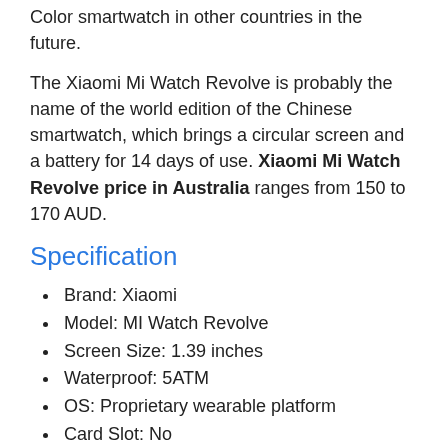Color smartwatch in other countries in the future.
The Xiaomi Mi Watch Revolve is probably the name of the world edition of the Chinese smartwatch, which brings a circular screen and a battery for 14 days of use. Xiaomi Mi Watch Revolve price in Australia ranges from 150 to 170 AUD.
Specification
Brand: Xiaomi
Model: MI Watch Revolve
Screen Size: 1.39 inches
Waterproof: 5ATM
OS: Proprietary wearable platform
Card Slot: No
Battery: 420mAh
Colours: Black and Silver